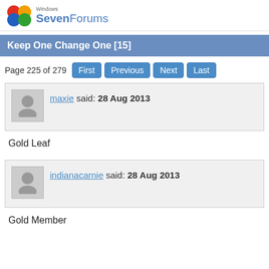Windows SevenForums
Keep One Change One [15]
Page 225 of 279  First  Previous  Next  Last
maxie said: 28 Aug 2013
Gold Leaf
indianacarnie said: 28 Aug 2013
Gold Member